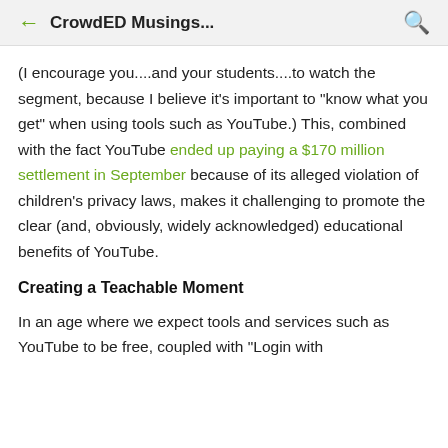CrowdED Musings...
(I encourage you....and your students....to watch the segment, because I believe it's important to "know what you get" when using tools such as YouTube.) This, combined with the fact YouTube ended up paying a $170 million settlement in September because of its alleged violation of children's privacy laws, makes it challenging to promote the clear (and, obviously, widely acknowledged) educational benefits of YouTube.
Creating a Teachable Moment
In an age where we expect tools and services such as YouTube to be free, coupled with "Login with